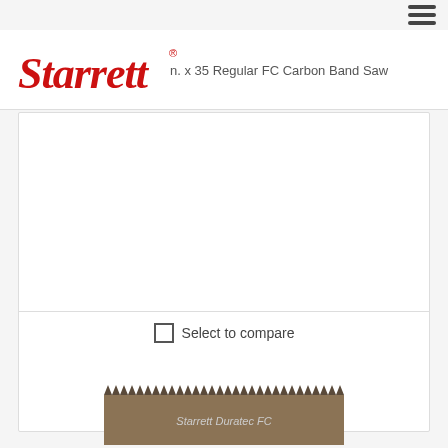[Figure (logo): Starrett red script logo with registered trademark symbol]
n. x 35 Regular FC Carbon Band Saw
Select to compare
[Figure (photo): Starrett Duratec FC band saw blade - brown/tan colored blade with teeth along top edge, label reading Starrett Duratec FC]